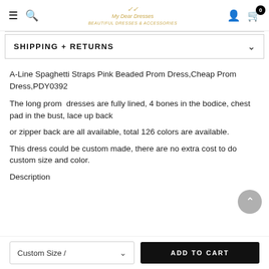Navigation bar with hamburger menu, search, logo, user icon, cart (0)
SHIPPING + RETURNS
A-Line Spaghetti Straps Pink Beaded Prom Dress,Cheap Prom Dress,PDY0392
The long prom  dresses are fully lined, 4 bones in the bodice, chest pad in the bust, lace up back
or zipper back are all available, total 126 colors are available.
This dress could be custom made, there are no extra cost to do custom size and color.
Description